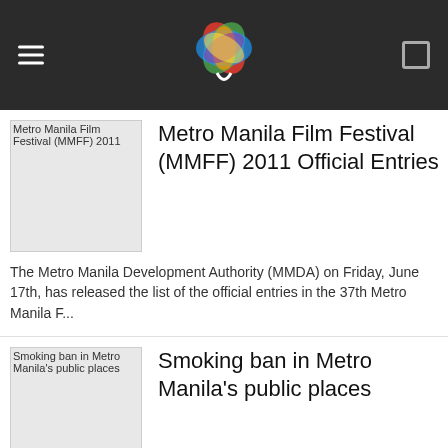Metro Manila Film Festival (MMFF) 2011 news app header
Metro Manila Film Festival (MMFF) 2011 Official Entries
The Metro Manila Development Authority (MMDA) on Friday, June 17th, has released the list of the official entries in the 37th Metro Manila F...
Smoking ban in Metro Manila's public places
Here's bad news for smokers. The Metropolitan Manila Development Authority (MMDA) last week announced that starting May 30, the agency ...
Richard Gutierrez airs side on overspeeding issue
Kapuso actor Richard Gutierrez denied reports that he scolded and cursed the traffic enforcers of the Metro Manila Development Authority (MM